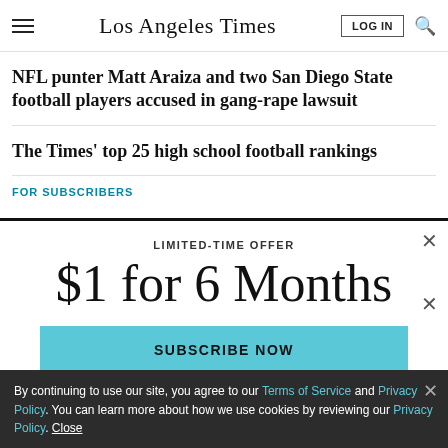Los Angeles Times
NFL punter Matt Araiza and two San Diego State football players accused in gang-rape lawsuit
The Times' top 25 high school football rankings
FOR SUBSCRIBERS
[Figure (screenshot): Subscription modal overlay with close X button, LIMITED-TIME OFFER label, $1 for 6 Months heading, and SUBSCRIBE NOW button in cyan/teal]
By continuing to use our site, you agree to our Terms of Service and Privacy Policy. You can learn more about how we use cookies by reviewing our Privacy Policy. Close